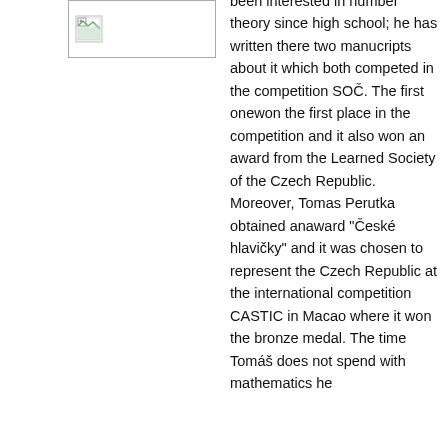[Figure (photo): A small image placeholder icon in the upper left column]
been interested in number theory since high school; he has written there two manucripts about it which both competed in the competition SOČ. The first onewon the first place in the competition and it also won an award from the Learned Society of the Czech Republic. Moreover, Tomas Perutka obtained anaward "České hlavičky" and it was chosen to represent the Czech Republic at the international competition CASTIC in Macao where it won the bronze medal. The time Tomáš does not spend with mathematics he